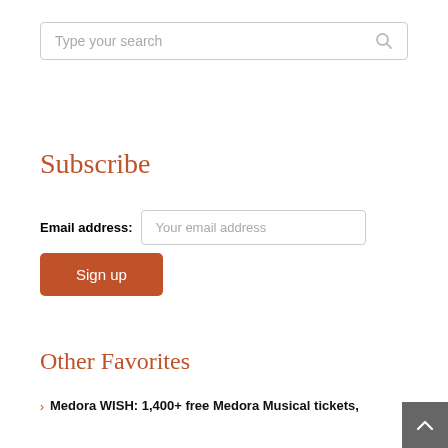[Figure (other): Search bar with placeholder text 'Type your search' and a search icon on the right]
Subscribe
Email address: Your email address
[Figure (other): Orange 'Sign up' button]
Other Favorites
Medora WISH: 1,400+ free Medora Musical tickets,